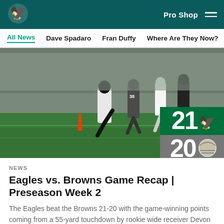Philadelphia Eagles — Pro Shop
All News | Dave Spadaro | Fran Duffy | Where Are They Now? | Pu
[Figure (photo): Philadelphia Eagles vs Cleveland Browns preseason game action photo showing players on field, with score overlay showing Eagles 21, Browns 20]
NEWS
Eagles vs. Browns Game Recap | Preseason Week 2
The Eagles beat the Browns 21-20 with the game-winning points coming from a 55-yard touchdown by rookie wide receiver Devon Allen.